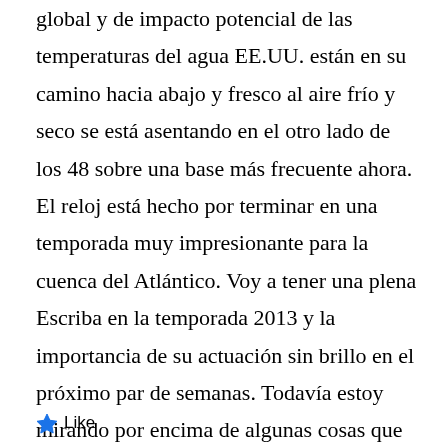global y de impacto potencial de las temperaturas del agua EE.UU. están en su camino hacia abajo y fresco al aire frío y seco se está asentando en el otro lado de los 48 sobre una base más frecuente ahora. El reloj está hecho por terminar en una temporada muy impresionante para la cuenca del Atlántico. Voy a tener una plena Escriba en la temporada 2013 y la importancia de su actuación sin brillo en el próximo par de semanas. Todavía estoy mirando por encima de algunas cosas que pueden ayudar a explicar lo que salió mal con los pronósticos.
Like